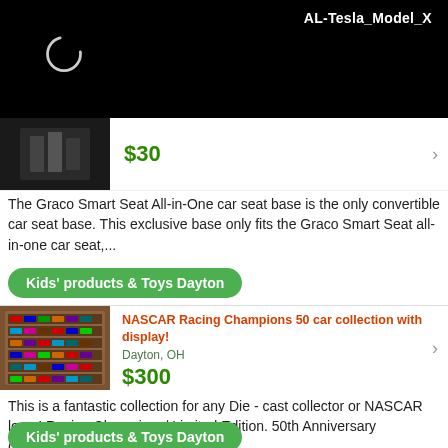AL-Tesla_Model_X
[Figure (screenshot): Black header bar with loading spinner circle and header text AL-Tesla_Model_X]
$30
The Graco Smart Seat All-in-One car seat base is the only convertible car seat base. This exclusive base only fits the Graco Smart Seat all-in-one car seat,...
Kids' products & Toys Dayton
NASCAR Racing Champions 50 car collection with display!
Dayton, OH
$300
This is a fantastic collection for any Die - cast collector or NASCAR lover! Racing Champions/ Limited Edition. 50th Anniversary Commemorative series 1948 -...
Kids' products & Toys Dayton